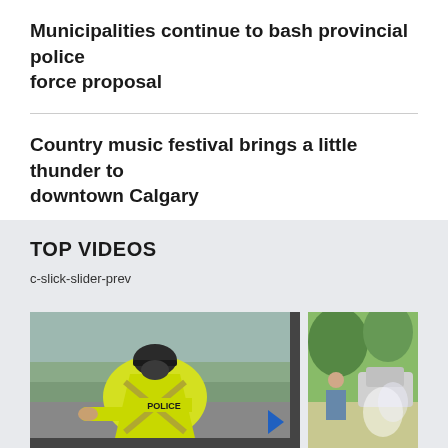Municipalities continue to bash provincial police force proposal
Country music festival brings a little thunder to downtown Calgary
TOP VIDEOS
c-slick-slider-prev
[Figure (photo): Video thumbnail showing a police officer in a high-visibility yellow jacket with POLICE printed on the back, standing at what appears to be a roadside scene]
[Figure (photo): Video thumbnail showing an outdoor scene with trees and people, possibly a festival or outdoor event]